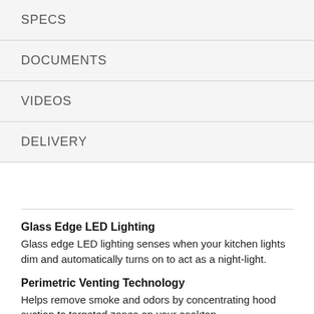SPECS
DOCUMENTS
VIDEOS
DELIVERY
Glass Edge LED Lighting
Glass edge LED lighting senses when your kitchen lights dim and automatically turns on to act as a night-light.
Perimetric Venting Technology
Helps remove smoke and odors by concentrating hood suction to targeted zones on your cooktop.
Noise Reduction Technology
Sound insulation and a special chimney design allow for